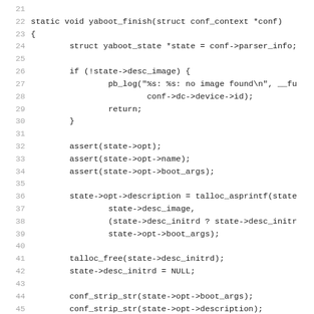[Figure (screenshot): Source code listing of yaboot_finish function in C, lines 21-52, showing monospace code with line numbers on a white background.]